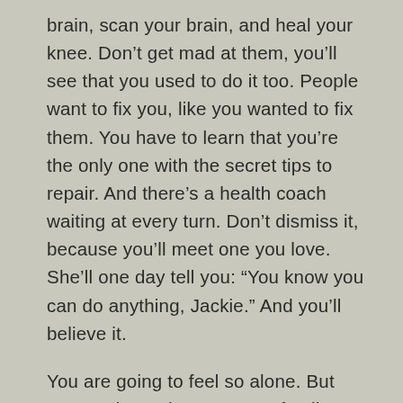brain, scan your brain, and heal your knee. Don’t get mad at them, you’ll see that you used to do it too. People want to fix you, like you wanted to fix them. You have to learn that you’re the only one with the secret tips to repair. And there’s a health coach waiting at every turn. Don’t dismiss it, because you’ll meet one you love. She’ll one day tell you: “You know you can do anything, Jackie.” And you’ll believe it.
You are going to feel so alone. But guess what – there’s an AE family waiting for you. They’re in England, North Carolina, and all over the world. You’ll feel overwhelmed to seek, but once you find you’ll discover knowledge, information, and